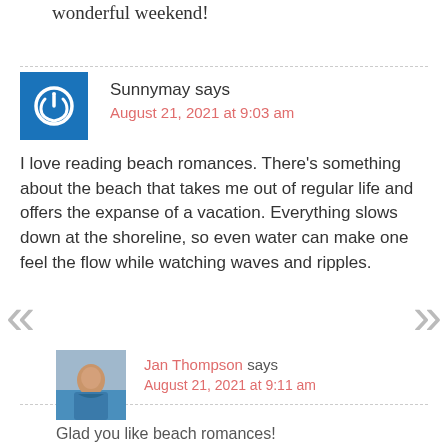wonderful weekend!
Sunnymay says
August 21, 2021 at 9:03 am
I love reading beach romances. There's something about the beach that takes me out of regular life and offers the expanse of a vacation. Everything slows down at the shoreline, so even water can make one feel the flow while watching waves and ripples.
Jan Thompson says
August 21, 2021 at 9:11 am
Glad you like beach romances!